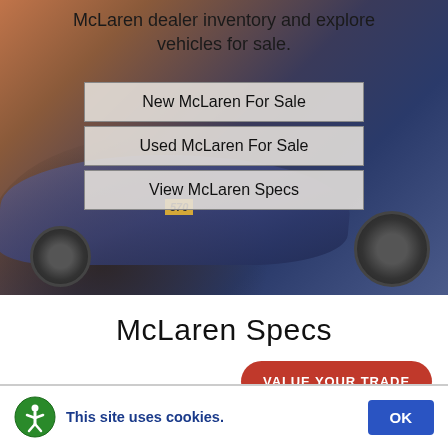McLaren dealer inventory and explore vehicles for sale.
New McLaren For Sale
Used McLaren For Sale
View McLaren Specs
[Figure (photo): McLaren 570 sports car in blue/silver driving on road, hero image]
McLaren Specs
VALUE YOUR TRADE
This site uses cookies.
OK